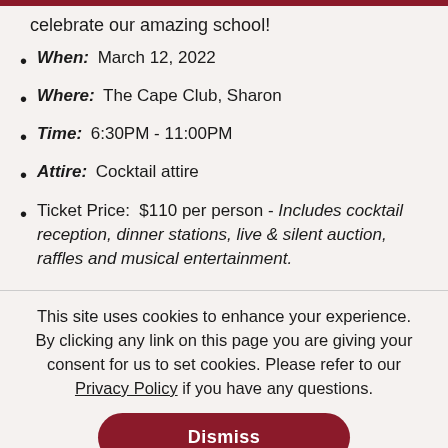celebrate our amazing school!
When: March 12, 2022
Where: The Cape Club, Sharon
Time: 6:30PM - 11:00PM
Attire: Cocktail attire
Ticket Price: $110 per person - Includes cocktail reception, dinner stations, live & silent auction, raffles and musical entertainment.
This site uses cookies to enhance your experience. By clicking any link on this page you are giving your consent for us to set cookies. Please refer to our Privacy Policy if you have any questions.